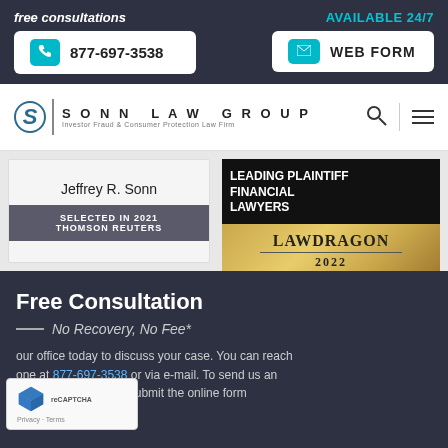free consultations
AVAILABLE 24/7
877-697-3538
WEB FORM
[Figure (logo): Sonn Law Group logo with circular S emblem and text 'SONN LAW GROUP — Investor Fraud & Consumer Protection Law Firm']
[Figure (screenshot): Jeffrey R. Sonn — Selected in 2021 Thomson Reuters award badge]
[Figure (screenshot): Lawdragon 2022 Leading Plaintiff Financial Lawyers award badge with gold background]
Free Consultation
— No Recovery, No Fee*
our office today to discuss your case. You can reach one at 877-697-3538 or via e-mail. To send us an simply complete and submit the online form below.